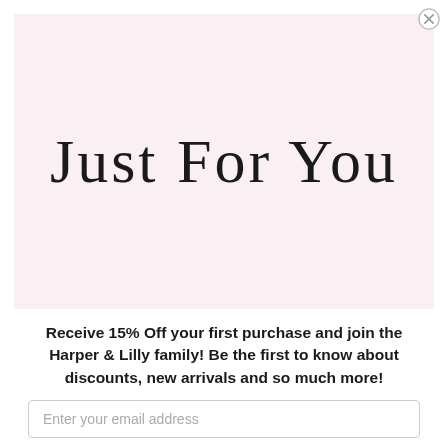[Figure (illustration): Light pink rectangular box with cursive handwritten text reading 'Just For You' in black script]
Receive 15% Off your first purchase and join the Harper & Lilly family! Be the first to know about discounts, new arrivals and so much more!
Enter your email address